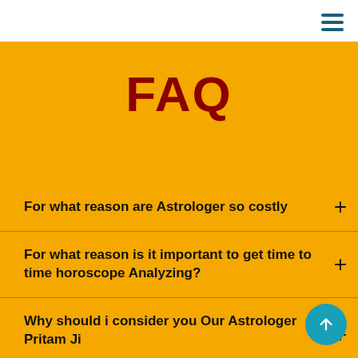FAQ
For what reason are Astrologer so costly
For what reason is it important to get time to time horoscope Analyzing?
Why should i consider you Our Astrologer Pritam Ji